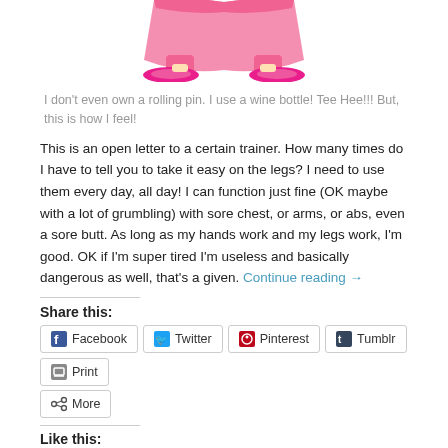[Figure (illustration): Cartoon illustration of a person in a pink robe and pink slippers, shown from the waist down.]
I don't even own a rolling pin. I use a wine bottle! Tee Hee!!! But, this is how I feel!
This is an open letter to a certain trainer. How many times do I have to tell you to take it easy on the legs? I need to use them every day, all day! I can function just fine (OK maybe with a lot of grumbling) with sore chest, or arms, or abs, even a sore butt. As long as my hands work and my legs work, I'm good. OK if I'm super tired I'm useless and basically dangerous as well, that's a given. Continue reading →
Share this:
Facebook
Twitter
Pinterest
Tumblr
Print
More
Like this:
Loading...